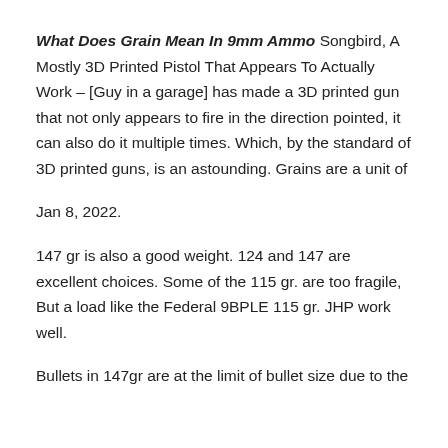What Does Grain Mean In 9mm Ammo Songbird, A Mostly 3D Printed Pistol That Appears To Actually Work – [Guy in a garage] has made a 3D printed gun that not only appears to fire in the direction pointed, it can also do it multiple times. Which, by the standard of 3D printed guns, is an astounding. Grains are a unit of
Jan 8, 2022.
147 gr is also a good weight. 124 and 147 are excellent choices. Some of the 115 gr. are too fragile, But a load like the Federal 9BPLE 115 gr. JHP work well.
Bullets in 147gr are at the limit of bullet size due to the